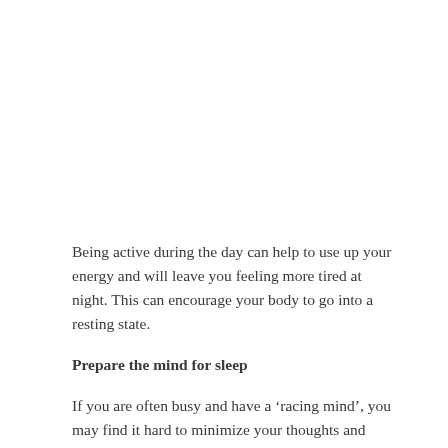Being active during the day can help to use up your energy and will leave you feeling more tired at night. This can encourage your body to go into a resting state.
Prepare the mind for sleep
If you are often busy and have a ‘racing mind’, you may find it hard to minimize your thoughts and calm your mind in the evening. It is good to stop working at a reasonable time and give your mind a good amount of